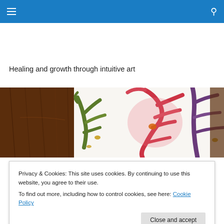Navigation bar with hamburger menu and search icon
Healing and growth through intuitive art
[Figure (photo): Close-up photograph of intuitive art paintings showing abstract floral/coral shapes in green, red, pink, and purple on white background, next to a dark wooden surface.]
Privacy & Cookies: This site uses cookies. By continuing to use this website, you agree to their use.
To find out more, including how to control cookies, see here: Cookie Policy